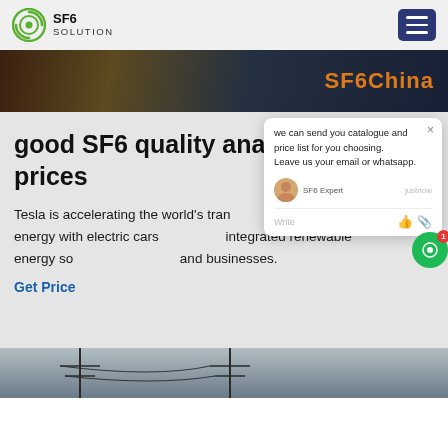SF6 SOLUTION
[Figure (screenshot): Hero banner image with SF6China text overlay]
good SF6 quality analysis cart prices
Tesla is accelerating the world's transition to sustainable energy with electric cars, solar and integrated renewable energy solutions for homes and businesses.
Get Price
[Figure (screenshot): Chat popup overlay with message: we can send you catalogue and price list for you choosing. Leave us your email or whatsapp. SF6 Expert justnow. Write.]
[Figure (photo): Bottom image showing electrical transmission line infrastructure]